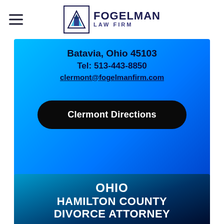[Figure (logo): Fogelman Law Firm logo with triangle/mountain icon and text]
Batavia, Ohio 45103
Tel: 513-443-8850
clermont@fogelmanfirm.com
Clermont Directions
OHIO
HAMILTON COUNTY
DIVORCE ATTORNEY
441 Vine Street
Carew Tower, 29th floor